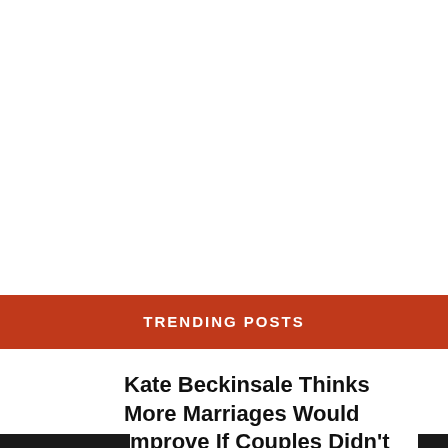TRENDING POSTS
Kate Beckinsale Thinks More Marriages Would Improve If Couples Didn't Live Together